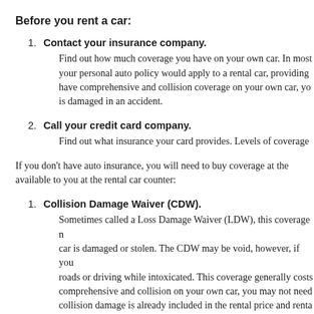Before you rent a car:
Contact your insurance company. Find out how much coverage you have on your own car. In most your personal auto policy would apply to a rental car, providing have comprehensive and collision coverage on your own car, yo is damaged in an accident.
Call your credit card company. Find out what insurance your card provides. Levels of coverage
If you don't have auto insurance, you will need to buy coverage at the available to you at the rental car counter:
Collision Damage Waiver (CDW). Sometimes called a Loss Damage Waiver (LDW), this coverage n car is damaged or stolen. The CDW may be void, however, if you roads or driving while intoxicated. This coverage generally costs comprehensive and collision on your own car, you may not need collision damage is already included in the rental price and renta extra for the CDW. New York also restricts the liability of drivers
Liability Insurance. This provides excess liability coverage of up to $1 million for the